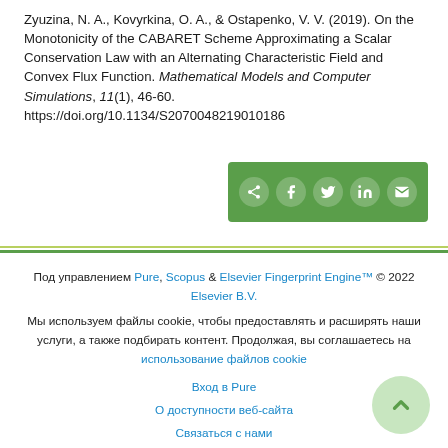Zyuzina, N. A., Kovyrkina, O. A., & Ostapenko, V. V. (2019). On the Monotonicity of the CABARET Scheme Approximating a Scalar Conservation Law with an Alternating Characteristic Field and Convex Flux Function. Mathematical Models and Computer Simulations, 11(1), 46-60. https://doi.org/10.1134/S2070048219010186
[Figure (other): Social share bar with icons for share, Facebook, Twitter, LinkedIn, and email on a green background]
Под управлением Pure, Scopus & Elsevier Fingerprint Engine™ © 2022 Elsevier B.V.
Мы используем файлы cookie, чтобы предоставлять и расширять наши услуги, а также подбирать контент. Продолжая, вы соглашаетесь на использование файлов cookie
Вход в Pure
О доступности веб-сайта
Связаться с нами